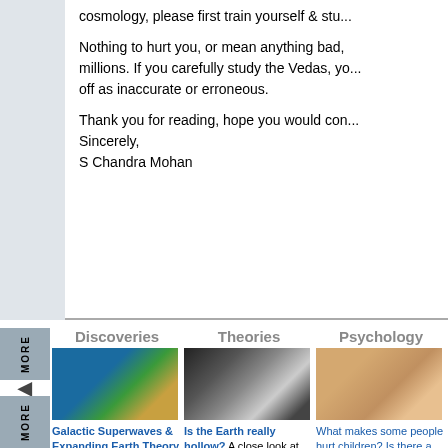cosmology, please first train yourself & stu...
Nothing to hurt you, or mean anything bad, ... millions. If you carefully study the Vedas, yo... off as inaccurate or erroneous.
Thank you for reading, hope you would con... Sincerely, S Chandra Mohan
Discoveries
Theories
Psychology
[Figure (photo): Globe showing Earth from space]
[Figure (photo): Hollow earth or planet image]
[Figure (photo): Child face - psychology]
Galactic Superwaves & Expanding Earth Theory explained.
Is the Earth really hollow? A close look at some of the evidence.
What makes some people hurt children? Is there a cure?
[Figure (photo): Epigenetics - microscope/cell imagery with text 'epigenetics']
[Figure (photo): SV40 A Deadly Cure - syringe image]
[Figure (photo): Handwriting analysis note]
EPIGENETICS: The New Theory of Evolution
SV-40: 1950s Vaccinations infected with cancer virus.
Handwriting Analysis Free lessons on line by an expert.